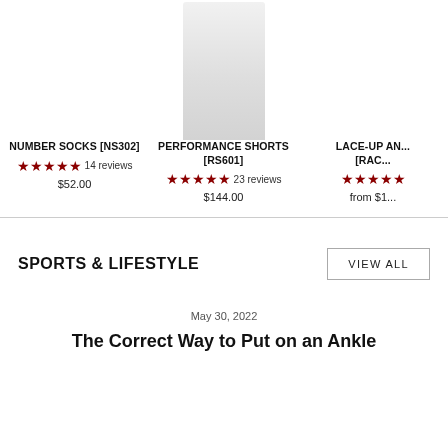[Figure (screenshot): Product listing row showing three products: NUMBER SOCKS [NS302], PERFORMANCE SHORTS [RS601], LACE-UP AN... [RAC...] partially cropped. Each has star ratings and price.]
NUMBER SOCKS [NS302] ★★★★★ 14 reviews $52.00
PERFORMANCE SHORTS [RS601] ★★★★★ 23 reviews $144.00
LACE-UP AN... [RAC...] ★★★★★ from $1...
SPORTS & LIFESTYLE
VIEW ALL
May 30, 2022
The Correct Way to Put on an Ankle